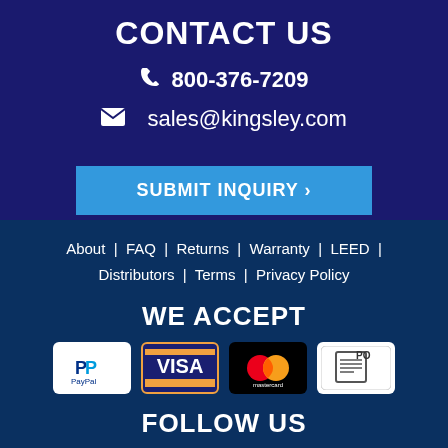CONTACT US
📞 800-376-7209
✉ sales@kingsley.com
SUBMIT INQUIRY >
About | FAQ | Returns | Warranty | LEED | Distributors | Terms | Privacy Policy
WE ACCEPT
[Figure (logo): Payment method logos: PayPal, Visa, Mastercard, PO]
FOLLOW US